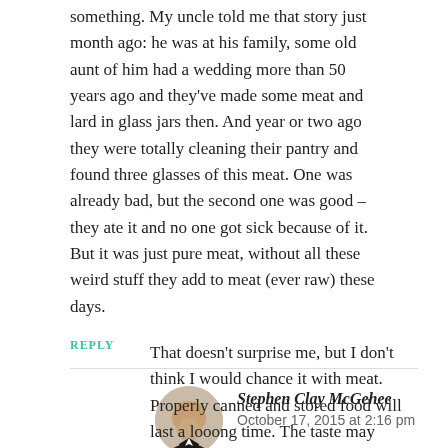something. My uncle told me that story just month ago: he was at his family, some old aunt of him had a wedding more than 50 years ago and they've made some meat and lard in glass jars then. And year or two ago they were totally cleaning their pantry and found three glasses of this meat. One was already bad, but the second one was good – they ate it and no one got sick because of it. But it was just pure meat, without all these weird stuff they add to meat (ever raw) these days.
REPLY
Stephen Clay McGehee
October 17, 2015 at 2:16 pm
That doesn't surprise me, but I don't think I would chance it with meat. Properly canned and stored food will last a looong time. The taste may